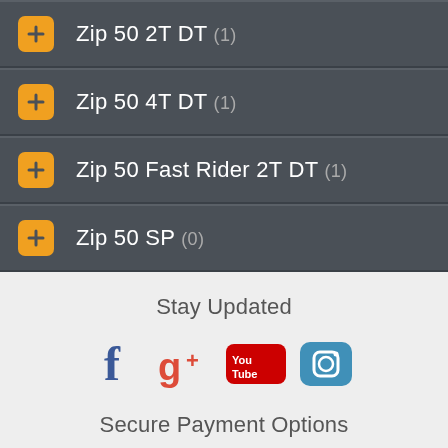Zip 50 2T DT (1)
Zip 50 4T DT (1)
Zip 50 Fast Rider 2T DT (1)
Zip 50 SP (0)
Stay Updated
[Figure (other): Social media icons: Facebook, Google+, YouTube, Instagram]
Secure Payment Options